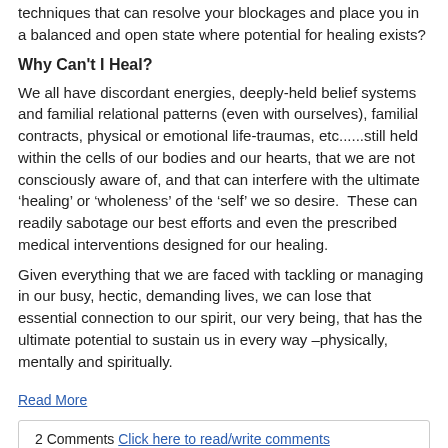techniques that can resolve your blockages and place you in a balanced and open state where potential for healing exists?
Why Can't I Heal?
We all have discordant energies, deeply-held belief systems and familial relational patterns (even with ourselves), familial contracts, physical or emotional life-traumas, etc......still held within the cells of our bodies and our hearts, that we are not consciously aware of, and that can interfere with the ultimate ‘healing’ or ‘wholeness’ of the ‘self’ we so desire.  These can readily sabotage our best efforts and even the prescribed medical interventions designed for our healing.
Given everything that we are faced with tackling or managing in our busy, hectic, demanding lives, we can lose that essential connection to our spirit, our very being, that has the ultimate potential to sustain us in every way –physically, mentally and spiritually.
Read More
2 Comments  Click here to read/write comments